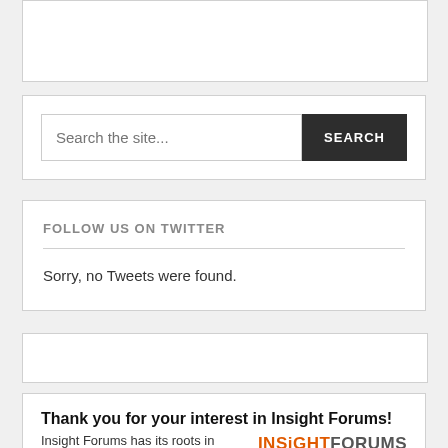[Figure (screenshot): White box placeholder at top of page, partially visible]
[Figure (screenshot): Search bar widget with text input placeholder 'Search the site...' and dark SEARCH button]
FOLLOW US ON TWITTER
Sorry, no Tweets were found.
[Figure (screenshot): Empty white box placeholder]
Thank you for your interest in Insight Forums!
Insight Forums has its roots in industry research and the production of learning events